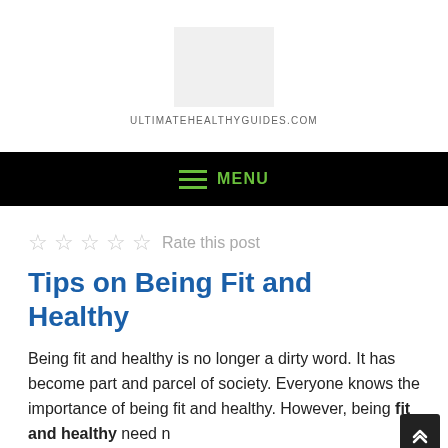[Figure (logo): Website logo placeholder image (light gray rectangle) above site name]
ULTIMATEHEALTHYGUIDES.COM
MENU
Rate this post
Tips on Being Fit and Healthy
Being fit and healthy is no longer a dirty word. It has become part and parcel of society. Everyone knows the importance of being fit and healthy. However, being fit and healthy need n...